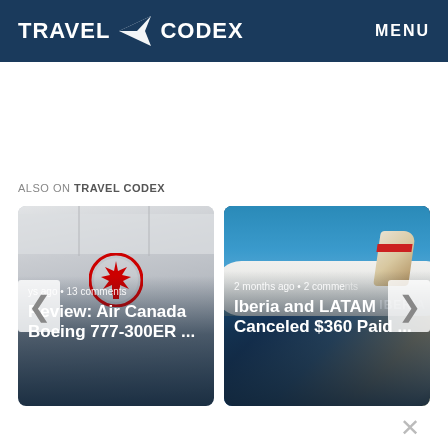TRAVEL CODEX — MENU
ALSO ON TRAVEL CODEX
[Figure (photo): Air Canada Boeing 777-300ER interior with Air Canada maple leaf logo visible on seat/wall. Card shows: 'ys ago • 13 comments' and title 'Review: Air Canada Boeing 777-300ER ...']
[Figure (photo): Iberia aircraft tail with IBERIA lettering visible against blue sky. Card shows: '2 months ago • 2 comments' and title 'Iberia and LATAM Canceled $360 Paid ...']